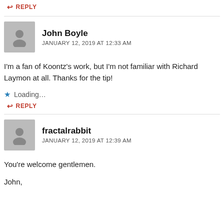↩ REPLY
John Boyle
JANUARY 12, 2019 AT 12:33 AM
I'm a fan of Koontz's work, but I'm not familiar with Richard Laymon at all. Thanks for the tip!
Loading...
↩ REPLY
fractalrabbit
JANUARY 12, 2019 AT 12:39 AM
You're welcome gentlemen.
John,